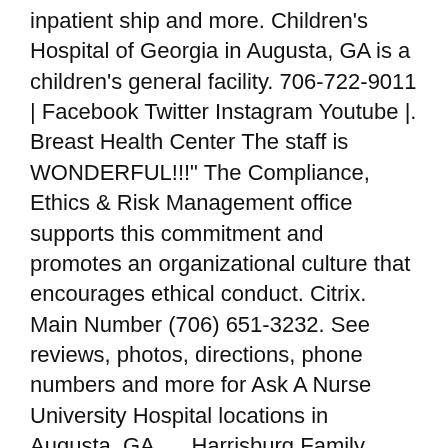inpatient ship and more. Children's Hospital of Georgia in Augusta, GA is a children's general facility. 706-722-9011 | Facebook Twitter Instagram Youtube |. Breast Health Center The staff is WONDERFUL!!!" The Compliance, Ethics & Risk Management office supports this commitment and promotes an organizational culture that encourages ethical conduct. Citrix. Main Number (706) 651-3232. See reviews, photos, directions, phone numbers and more for Ask A Nurse University Hospital locations in Augusta, GA.     Harrisburg Family Healthcare Clinic Effective Dec. 10: University Health Care System has reverted to a NO VISITATION policy for our Main and Summerville campuses with only a couple of exceptions. 706-774-7247 University Hospital is a medicare enrolled Acute Care Hospital in Augusta, Georgia. Augusta University Medical Center. The current location address for Georgia Regents University Augusta is 1040 Alexander Dr, Apt. Our hospital delivers aggressive and comprehensive wound care to patients who require